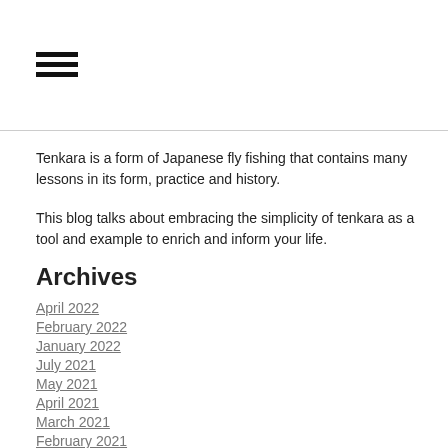[Figure (other): Hamburger menu icon — three horizontal black bars]
Tenkara is a form of Japanese fly fishing that contains many lessons in its form, practice and history.

This blog talks about embracing the simplicity of tenkara as a tool and example to enrich and inform your life.
Archives
April 2022
February 2022
January 2022
July 2021
May 2021
April 2021
March 2021
February 2021
December 2020
October 2020